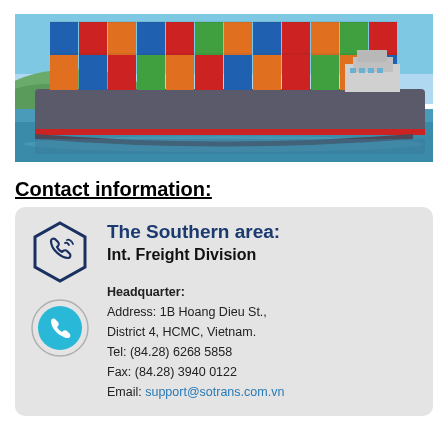[Figure (photo): A large container ship loaded with colorful shipping containers sailing on water with hills in the background.]
Contact information:
The Southern area:
Int. Freight Division
Headquarter:
Address: 1B Hoang Dieu St., District 4, HCMC, Vietnam.
Tel: (84.28) 6268 5858
Fax: (84.28) 3940 0122
Email: support@sotrans.com.vn